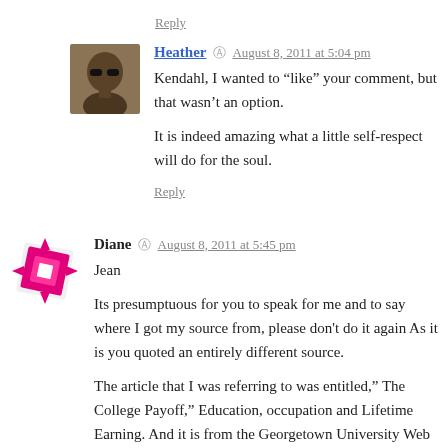Reply
Heather © August 8, 2011 at 5:04 pm
Kendahl, I wanted to “like” your comment, but that wasn’t an option.

It is indeed amazing what a little self-respect will do for the soul.
Reply
Diane © August 8, 2011 at 5:45 pm
Jean

Its presumptuous for you to speak for me and to say where I got my source from, please don't do it again As it is you quoted an entirely different source.

The article that I was referring to was entitled,” The College Payoff,” Education, occupation and Lifetime Earning. And it is from the Georgetown University Web site.